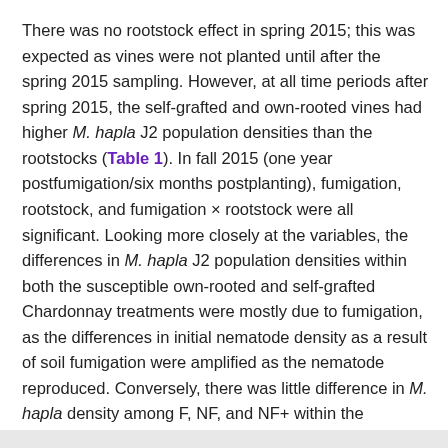There was no rootstock effect in spring 2015; this was expected as vines were not planted until after the spring 2015 sampling. However, at all time periods after spring 2015, the self-grafted and own-rooted vines had higher M. hapla J2 population densities than the rootstocks (Table 1). In fall 2015 (one year postfumigation/six months postplanting), fumigation, rootstock, and fumigation × rootstock were all significant. Looking more closely at the variables, the differences in M. hapla J2 population densities within both the susceptible own-rooted and self-grafted Chardonnay treatments were mostly due to fumigation, as the differences in initial nematode density as a result of soil fumigation were amplified as the nematode reproduced. Conversely, there was little difference in M. hapla density among F, NF, and NF+ within the rootstock treatments (p = 0.0001), but a large difference between rootstocks and the controls. When all data were considered together, fumigation, rootstock, and fumigation × rootstock were all significant.